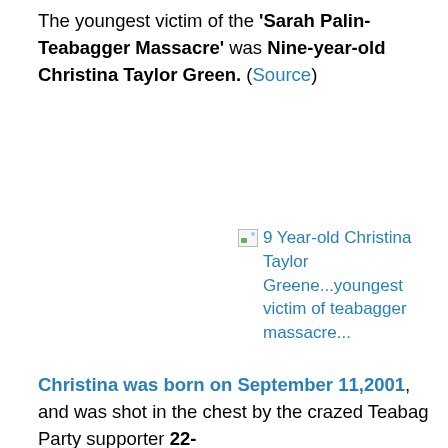The youngest victim of the 'Sarah Palin-Teabagger Massacre' was Nine-year-old Christina Taylor Green. (Source)
[Figure (other): Broken image placeholder showing '9 Year-old Christina Taylor Greene...youngest victim of teabagger massacre...' as alt text link]
9 Year-old Christina Taylor Green...youngest victim of teabagger massacre...
Christina was born on September 11,2001, and was shot in the chest by the crazed Teabag Party supporter 22-